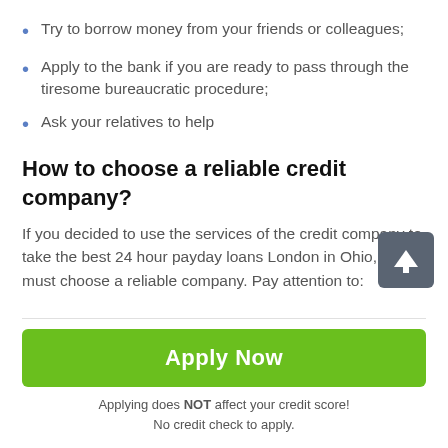Try to borrow money from your friends or colleagues;
Apply to the bank if you are ready to pass through the tiresome bureaucratic procedure;
Ask your relatives to help
How to choose a reliable credit company?
If you decided to use the services of the credit company to take the best 24 hour payday loans London in Ohio, you must choose a reliable company. Pay attention to:
A reliable company must have the appropriate documents allowing the appropriate financial activity;
Apply Now
Applying does NOT affect your credit score!
No credit check to apply.